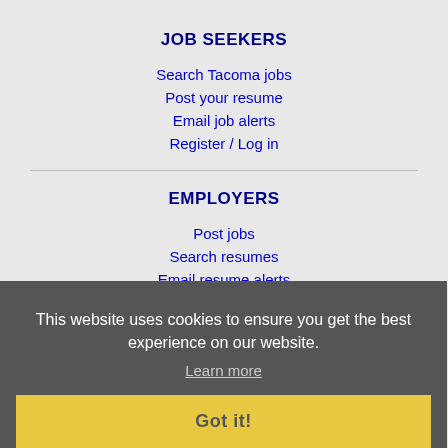JOB SEEKERS
Search Tacoma jobs
Post your resume
Email job alerts
Register / Log in
EMPLOYERS
Post jobs
Search resumes
Email resume alerts
Advertise
IMMIGRATION SPECIALISTS
Post jobs
Immigration FAQs
This website uses cookies to ensure you get the best experience on our website.
Learn more
Got it!